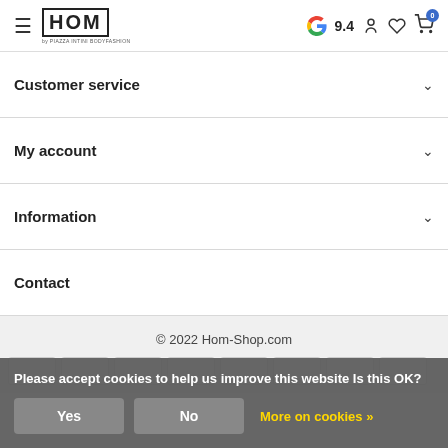HOM by PIAZZA INTINI BODYFASHION — Google rating 9.4
Customer service
My account
Information
Contact
© 2022 Hom-Shop.com
Please accept cookies to help us improve this website Is this OK?
Yes   No   More on cookies »